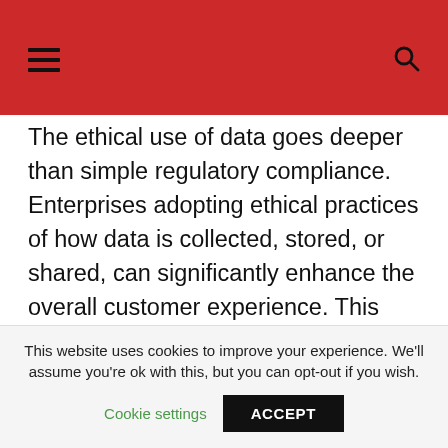The ethical use of data goes deeper than simple regulatory compliance. Enterprises adopting ethical practices of how data is collected, stored, or shared, can significantly enhance the overall customer experience. This approach includes securing clear and informed consent, safely storing data, and securing permission to use or share the data once collected. Some companies approach compliance from the perspective of fulfilling the minimum
This website uses cookies to improve your experience. We'll assume you're ok with this, but you can opt-out if you wish. Cookie settings ACCEPT